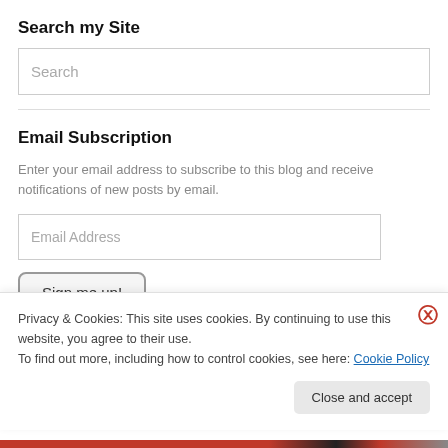Search my Site
[Figure (screenshot): Search input box with placeholder text 'Search']
Email Subscription
Enter your email address to subscribe to this blog and receive notifications of new posts by email.
[Figure (screenshot): Email Address input box and Sign me up! button]
Privacy & Cookies: This site uses cookies. By continuing to use this website, you agree to their use.
To find out more, including how to control cookies, see here: Cookie Policy
Close and accept